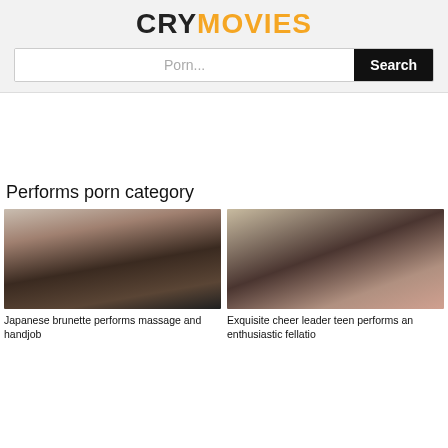CRYMOVIES
Porn... Search
Performs porn category
[Figure (photo): Thumbnail of Japanese brunette woman in black uniform]
Japanese brunette performs massage and handjob
[Figure (photo): Thumbnail of explicit adult content scene]
Exquisite cheer leader teen performs an enthusiastic fellatio